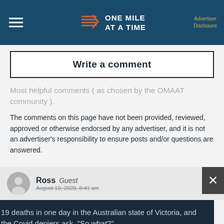ONE MILE AT A TIME — Advertiser Disclosure
Write a comment
Most helpful comments ( as chosen by the OMAAT community ).
The comments on this page have not been provided, reviewed, approved or otherwise endorsed by any advertiser, and it is not an advertiser's responsibility to ensure posts and/or questions are answered.
Ross Guest
August 10, 2020, 8:41 am
19 deaths in one day in the Australian state of Victoria, and the Covid deniers ask, "So what?"